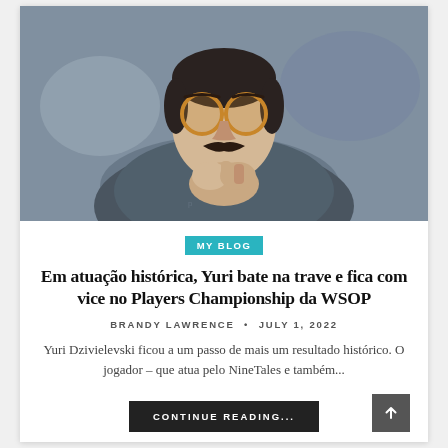[Figure (photo): Man with yellow/amber round glasses and a moustache, wearing a dark grey jacket, hands clasped together in a thinking pose, photographed at what appears to be a poker tournament.]
MY BLOG
Em atuação histórica, Yuri bate na trave e fica com vice no Players Championship da WSOP
BRANDY LAWRENCE • JULY 1, 2022
Yuri Dzivielevski ficou a um passo de mais um resultado histórico. O jogador – que atua pelo NineTales e também...
CONTINUE READING...